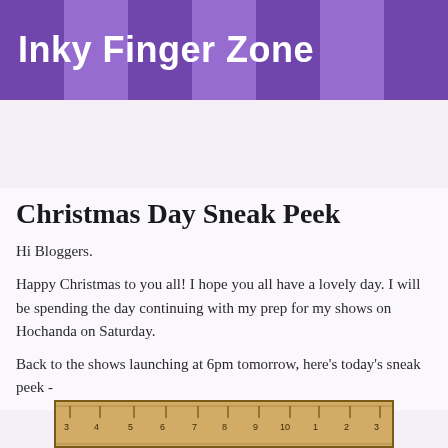Inky Finger Zone
Home
Monday, 25 December 2017
Christmas Day Sneak Peek
Hi Bloggers.
Happy Christmas to you all! I hope you all have a lovely day. I will be spending the day continuing with my prep for my shows on Hochanda on Saturday.
Back to the shows launching at 6pm tomorrow, here's today's sneak peek -
[Figure (photo): A wooden ruler showing measurements from approximately 3 to 3 (wrapping), with metric markings visible.]